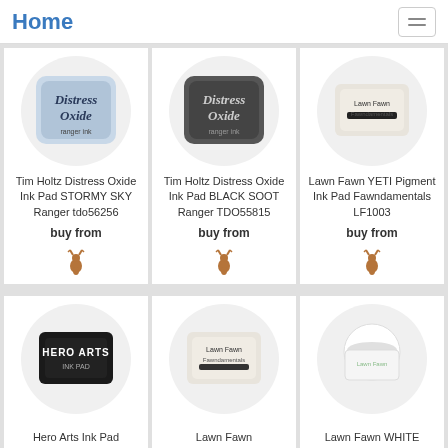Home
[Figure (photo): Tim Holtz Distress Oxide Ink Pad STORMY SKY Ranger tdo56256 product image in circle]
Tim Holtz Distress Oxide Ink Pad STORMY SKY Ranger tdo56256
buy from
[Figure (logo): Lawn Fawn deer logo icon]
[Figure (photo): Tim Holtz Distress Oxide Ink Pad BLACK SOOT Ranger TDO55815 product image in circle]
Tim Holtz Distress Oxide Ink Pad BLACK SOOT Ranger TDO55815
buy from
[Figure (logo): Lawn Fawn deer logo icon]
[Figure (photo): Lawn Fawn YETI Pigment Ink Pad Fawndamentals LF1003 product image in circle]
Lawn Fawn YETI Pigment Ink Pad Fawndamentals LF1003
buy from
[Figure (logo): Lawn Fawn deer logo icon]
[Figure (photo): Hero Arts Ink Pad product image in circle]
Hero Arts Ink Pad
[Figure (photo): Lawn Fawn product image in circle]
Lawn Fawn
[Figure (photo): Lawn Fawn WHITE product image in circle]
Lawn Fawn WHITE